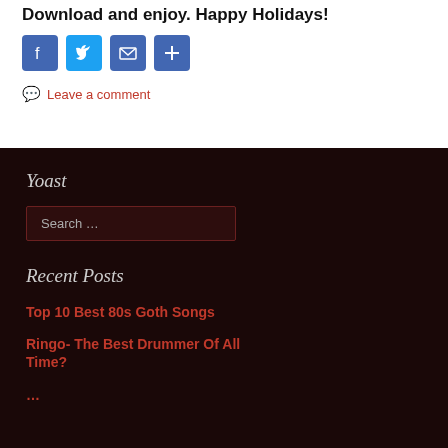Download and enjoy. Happy Holidays!
[Figure (infographic): Four social share icons: Facebook (blue), Twitter (blue), Email (blue), Plus/Share (blue)]
Leave a comment
Yoast
Search …
Recent Posts
Top 10 Best 80s Goth Songs
Ringo- The Best Drummer Of All Time?
…